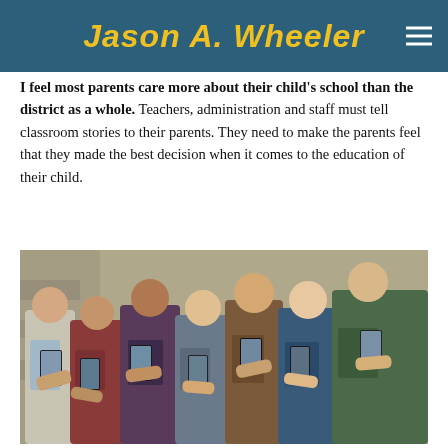Jason A. Wheeler
I feel most parents care more about their child's school than the district as a whole. Teachers, administration and staff must tell classroom stories to their parents. They need to make the parents feel that they made the best decision when it comes to the education of their child.
[Figure (photo): Group of young people looking at their smartphones, standing together outdoors against a stone wall background.]